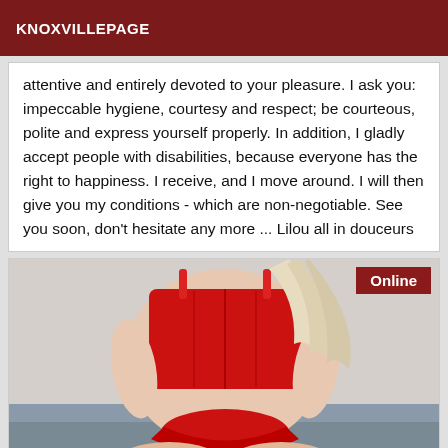KNOXVILLEPAGE
attentive and entirely devoted to your pleasure. I ask you: impeccable hygiene, courtesy and respect; be courteous, polite and express yourself properly. In addition, I gladly accept people with disabilities, because everyone has the right to happiness. I receive, and I move around. I will then give you my conditions - which are non-negotiable. See you soon, don't hesitate any more ... Lilou all in douceurs
[Figure (photo): Person wearing red lingerie seated on a grey surface, photographed from behind. An 'Online' badge appears in the top-right corner.]